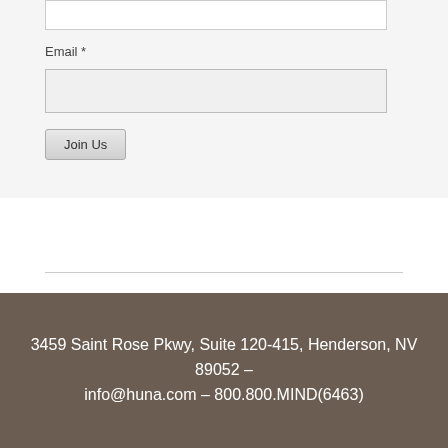Email *
3459 Saint Rose Pkwy, Suite 120-415, Henderson, NV 89052 – info@huna.com – 800.800.MIND(6463)